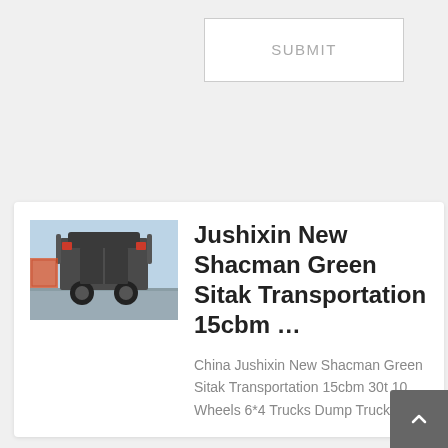SUBMIT
[Figure (photo): Photo of a large truck (Shacman dump truck) viewed from the rear, on a road with containers visible in the background and a blue sky.]
Jushixin New Shacman Green Sitak Transportation 15cbm …
China Jushixin New Shacman Green Sitak Transportation 15cbm 30t 10 Wheels 6*4 Trucks Dump Truck, Find